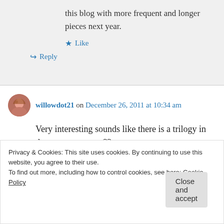this blog with more frequent and longer pieces next year.
Like
Reply
willowdot21 on December 26, 2011 at 10:34 am
Very interesting sounds like there is a trilogy in there or even more??
Like
Privacy & Cookies: This site uses cookies. By continuing to use this website, you agree to their use. To find out more, including how to control cookies, see here: Cookie Policy
Close and accept
2:22 pm